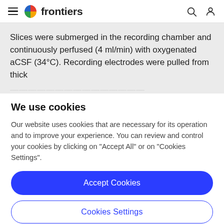frontiers
Slices were submerged in the recording chamber and continuously perfused (4 ml/min) with oxygenated aCSF (34°C). Recording electrodes were pulled from thick
We use cookies
Our website uses cookies that are necessary for its operation and to improve your experience. You can review and control your cookies by clicking on "Accept All" or on "Cookies Settings".
Accept Cookies
Cookies Settings